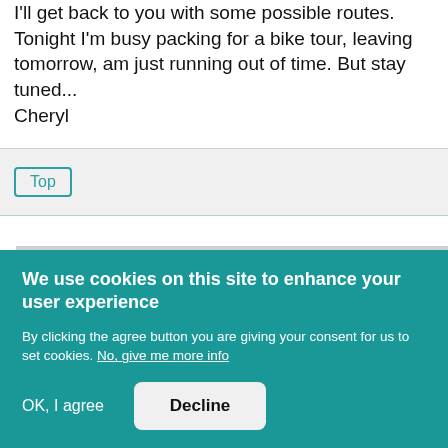I'll get back to you with some possible routes. Tonight I'm busy packing for a bike tour, leaving tomorrow, am just running out of time. But stay tuned... Cheryl
Top
Sun, 2014-08-31 13:54 (Reply to #5) PERMALINK
We use cookies on this site to enhance your user experience
By clicking the agree button you are giving your consent for us to set cookies. No, give me more info
OK, I agree
Decline